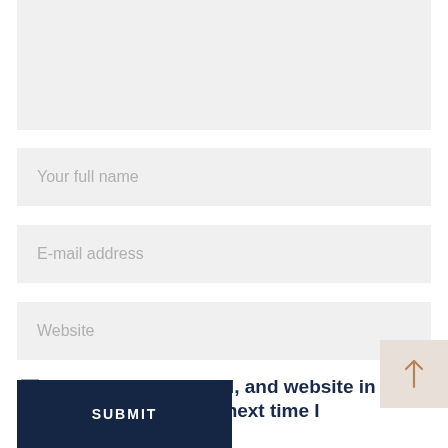[Figure (other): Large light gray textarea input box at the top of a comment form]
Your full name
E-mail address
Website
Save my name, email, and website in this browser for the next time I comment.
SUBMIT